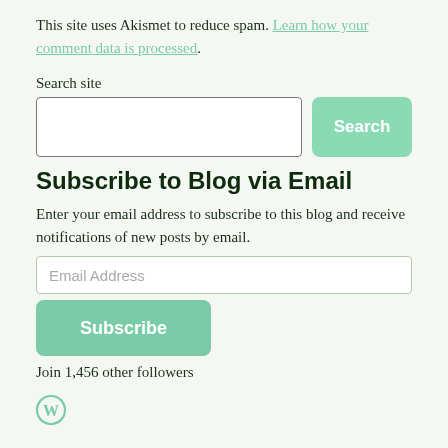This site uses Akismet to reduce spam. Learn how your comment data is processed.
Search site
[Figure (screenshot): Search input box and Search button]
Subscribe to Blog via Email
Enter your email address to subscribe to this blog and receive notifications of new posts by email.
[Figure (screenshot): Email Address input field, Subscribe button, and followers count text: Join 1,456 other followers]
[Figure (logo): WordPress W logo in green]